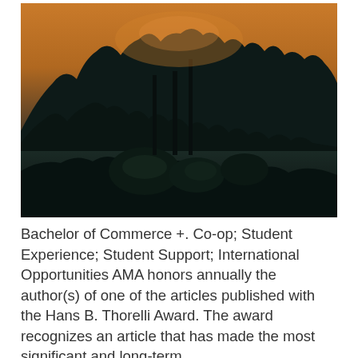[Figure (photo): Dark forest landscape at dusk/dawn with silhouetted conifer trees against an orange-tinted sky, with low bushes and ground vegetation in the foreground.]
Bachelor of Commerce +. Co-op; Student Experience; Student Support; International Opportunities AMA honors annually the author(s) of one of the articles published with the Hans B. Thorelli Award. The award recognizes an article that has made the most significant and long-term